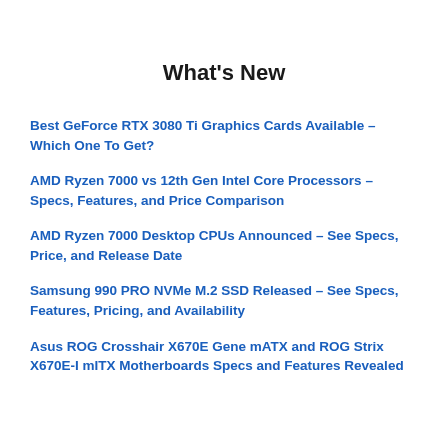What's New
Best GeForce RTX 3080 Ti Graphics Cards Available – Which One To Get?
AMD Ryzen 7000 vs 12th Gen Intel Core Processors – Specs, Features, and Price Comparison
AMD Ryzen 7000 Desktop CPUs Announced – See Specs, Price, and Release Date
Samsung 990 PRO NVMe M.2 SSD Released – See Specs, Features, Pricing, and Availability
Asus ROG Crosshair X670E Gene mATX and ROG Strix X670E-I mITX Motherboards Specs and Features Revealed